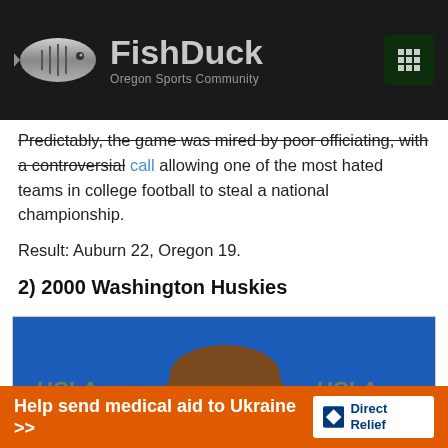FishDuck Oregon Sports Community
Predictably, the game was mired by poor officiating, with a controversial call allowing one of the most hated teams in college football to steal a national championship.
Result: Auburn 22, Oregon 19.
2) 2000 Washington Huskies
[Figure (photo): Photo of a smiling middle-aged man against a blue UCLA backdrop]
[Figure (infographic): Orange banner advertisement: Help send medical aid to Ukraine >> DirectRelief]